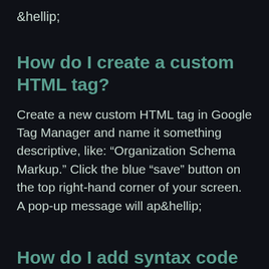&hellip;
How do I create a custom HTML tag?
Create a new custom HTML tag in Google Tag Manager and name it something descriptive, like: “Organization Schema Markup.” Click the blue “save” button on the top right-hand corner of your screen. A pop-up message will ap&hellip;
How do I add syntax code to my blog post?